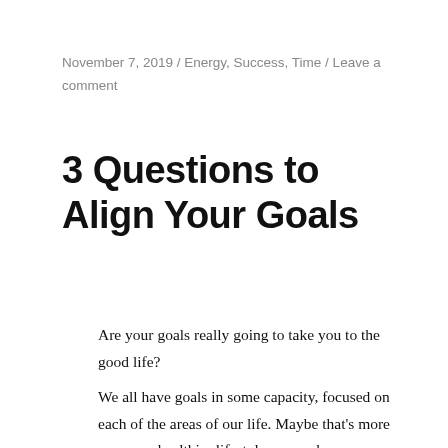November 7, 2019 / Energy, Success, Time / Leave a comment
3 Questions to Align Your Goals
Are your goals really going to take you to the good life?
We all have goals in some capacity, focused on each of the areas of our life. Maybe that's more money, a healthier lifestyle, more close friendships,